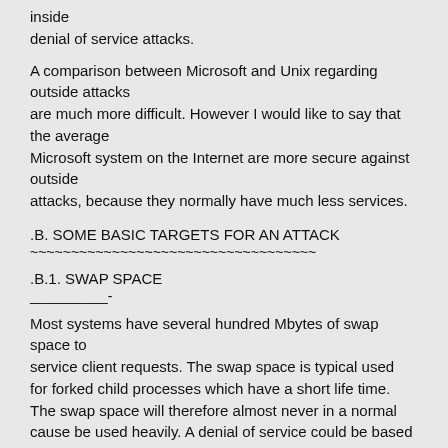inside
denial of service attacks.
A comparison between Microsoft and Unix regarding outside attacks
are much more difficult. However I would like to say that the average
Microsoft system on the Internet are more secure against outside
attacks, because they normally have much less services.
.B. SOME BASIC TARGETS FOR AN ATTACK
~~~~~~~~~~~~~~~~~~~~~~~~~~~~~~~~~~~
.B.1. SWAP SPACE
__________-
Most systems have several hundred Mbytes of swap space to
service client requests. The swap space is typical used
for forked child processes which have a short life time.
The swap space will therefore almost never in a normal
cause be used heavily. A denial of service could be based
on a method that tries to fill up the swap space.